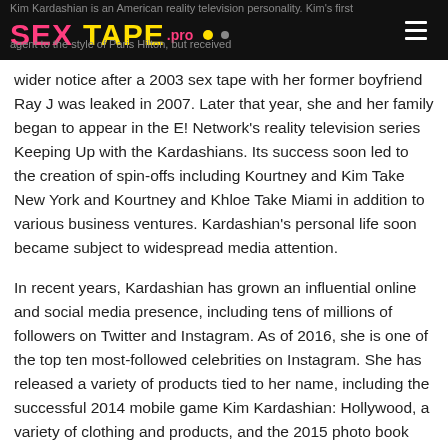SEX TAPE .pro — website header with logo and navigation
wider notice after a 2003 sex tape with her former boyfriend Ray J was leaked in 2007. Later that year, she and her family began to appear in the E! Network's reality television series Keeping Up with the Kardashians. Its success soon led to the creation of spin-offs including Kourtney and Kim Take New York and Kourtney and Khloe Take Miami in addition to various business ventures. Kardashian's personal life soon became subject to widespread media attention.
In recent years, Kardashian has grown an influential online and social media presence, including tens of millions of followers on Twitter and Instagram. As of 2016, she is one of the top ten most-followed celebrities on Instagram. She has released a variety of products tied to her name, including the successful 2014 mobile game Kim Kardashian: Hollywood, a variety of clothing and products, and the 2015 photo book Selfish. Her relationship with rapper Kanye West, dubbed "Kimye" by the media, has also received significant coverage; the couple married in 2014. They have two children together.
Time Magazine included Kardashian on their list of 2015's 100 most influential people, while Vogue described her in 2016 as a "pop culture